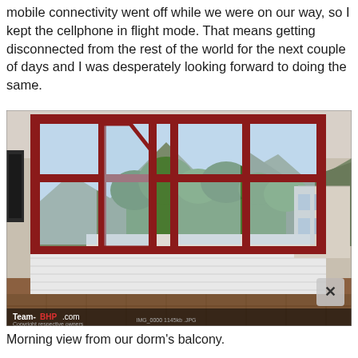mobile connectivity went off while we were on our way, so I kept the cellphone in flight mode. That means getting disconnected from the rest of the world for the next couple of days and I was desperately looking forward to doing the same.
[Figure (photo): Interior view of a room with large red-framed casement windows open outward, looking out onto green trees, mountains in the background, and a residential building on the right. The room has a tiled floor and white paneled walls below the windows. A Team-BHP.com watermark is visible at the bottom left of the photo along with camera metadata text.]
Morning view from our dorm's balcony.